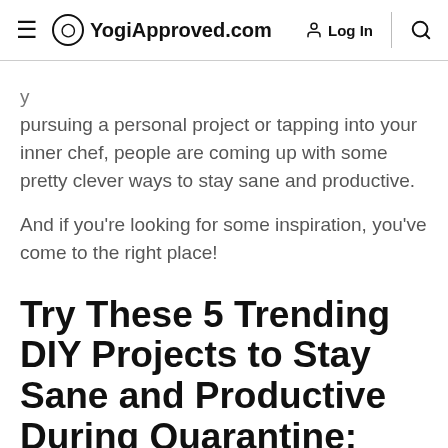≡ YogiApproved.com   Log In   🔍
pursuing a personal project or tapping into your inner chef, people are coming up with some pretty clever ways to stay sane and productive.
And if you're looking for some inspiration, you've come to the right place!
Try These 5 Trending DIY Projects to Stay Sane and Productive During Quarantine: